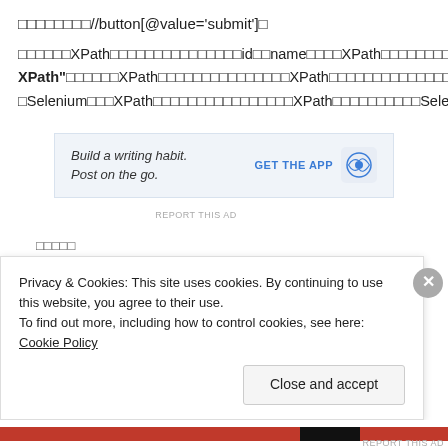□□□□□□□□//button[@value='submit']□
□□□□□□XPath□□□□□□□□□□□□□□□id□□name□□□□XPath□□□□□□□□Firebug□□□□□□□□□□□"Copy XPath"□□□□□□XPath□□□□□□□□□□□□□□□XPath□□□□□□□□□□□□□□□□□□□□□□□□□□□□□□□□□XPath□□□Selenium□□□XPath□□□□□□□□□□□□□□□□XPath□□□□□□□□□□Selenium□□□□□XPath□□□□□□□□□□
[Figure (other): Advertisement banner: 'Build a writing habit. Post on the go.' with GET THE APP button and WordPress logo]
□□□□□
Privacy & Cookies: This site uses cookies. By continuing to use this website, you agree to their use.
To find out more, including how to control cookies, see here: Cookie Policy
Close and accept